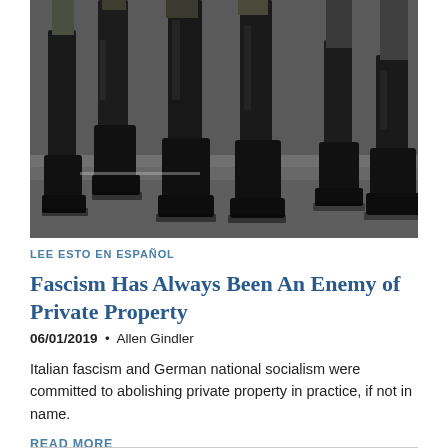[Figure (photo): Close-up photograph of multiple people's legs wearing black military/dress boots, standing on a gray pavement surface. Dark trousers visible above the boots.]
LEE ESTO EN ESPAÑOL
Fascism Has Always Been An Enemy of Private Property
06/01/2019  •  Allen Gindler
Italian fascism and German national socialism were committed to abolishing private property in practice, if not in name.
READ MORE